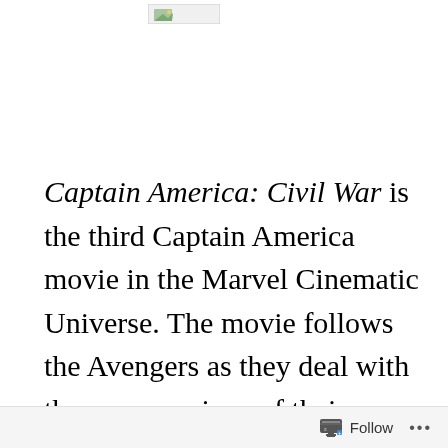[Figure (photo): Small broken image placeholder icon at the top of the page]
Captain America: Civil War is the third Captain America movie in the Marvel Cinematic Universe. The movie follows the Avengers as they deal with the repercussions of their actions from the earlier MCU movies, and some of the events from the opening sequence of this one. The two most important Avengers (Iron Man, and Captain
Follow ...